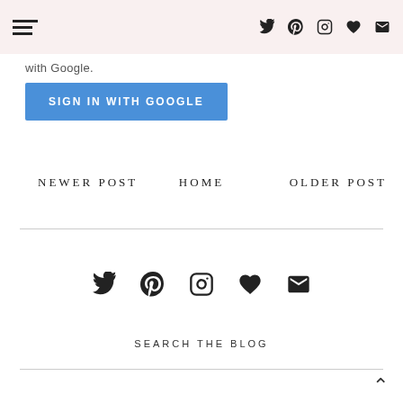[Navigation bar with hamburger menu and social icons: Twitter, Pinterest, Instagram, Heart, Mail]
with Google.
SIGN IN WITH GOOGLE
NEWER POST
HOME
OLDER POST
[Figure (infographic): Social media icons row: Twitter, Pinterest, Instagram, Heart, Mail]
SEARCH THE BLOG